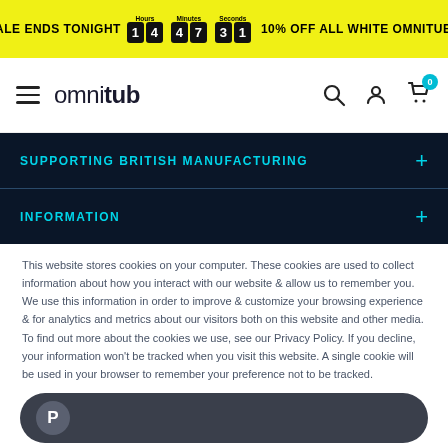SALE ENDS TONIGHT 14 47 31 10% OFF ALL WHITE OMNITUB®
[Figure (screenshot): Omnitub website navigation bar with hamburger menu, logo, search, account and cart icons]
SUPPORTING BRITISH MANUFACTURING
INFORMATION
This website stores cookies on your computer. These cookies are used to collect information about how you interact with our website & allow us to remember you. We use this information in order to improve & customize your browsing experience & for analytics and metrics about our visitors both on this website and other media. To find out more about the cookies we use, see our Privacy Policy. If you decline, your information won't be tracked when you visit this website. A single cookie will be used in your browser to remember your preference not to be tracked.
[Figure (screenshot): PayPal checkout button in dark rounded rectangle]